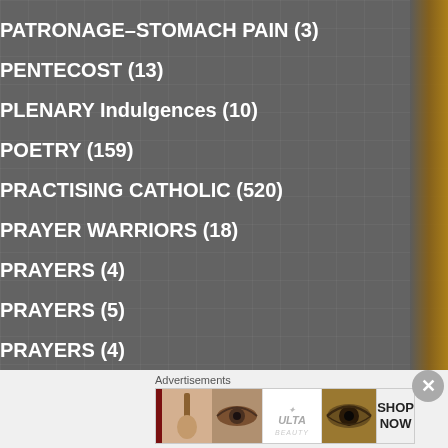PATRONAGE–STOMACH PAIN (3)
PENTECOST (13)
PLENARY Indulgences (10)
POETRY (159)
PRACTISING CATHOLIC (520)
PRAYER WARRIORS (18)
PRAYERS (4)
PRAYERS (5)
PRAYERS (4)
PRAYERS (1)
PRAYERS & NOVENA (10)
Advertisements
[Figure (photo): Advertisement banner for ULTA beauty products showing lips, makeup brush, eye, ULTA logo, eye look, and SHOP NOW button]